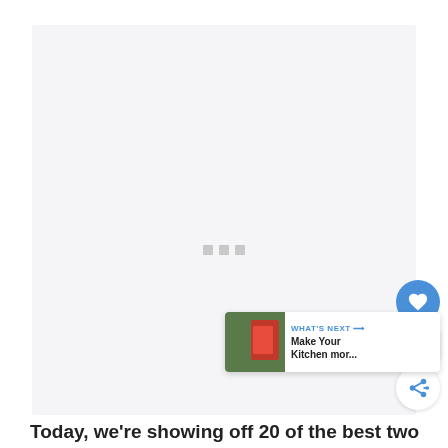[Figure (photo): Large light gray image placeholder area with three small square dots in the center indicating a loading or slideshow state. Social interaction buttons (heart/like, count 24, share) visible on the right side. A 'What's Next' card in the bottom right corner showing a thumbnail of a kitchen image and text 'Make Your Kitchen mor...']
Today, we're showing off 20 of the best two